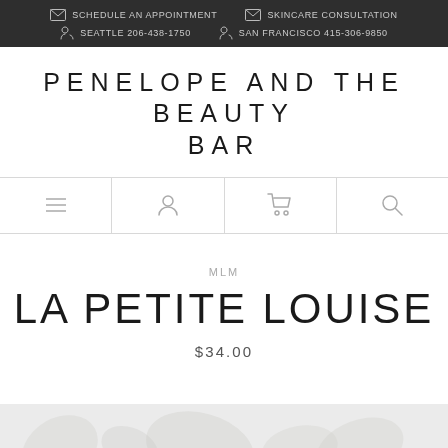SCHEDULE AN APPOINTMENT | SKINCARE CONSULTATION | SEATTLE 206-438-1750 | SAN FRANCISCO 415-306-9850
PENELOPE AND THE BEAUTY BAR
[Figure (other): Navigation bar with menu, user account, shopping cart, and search icons]
MLM
LA PETITE LOUISE
$34.00
[Figure (photo): Product image with botanical/leaf background]